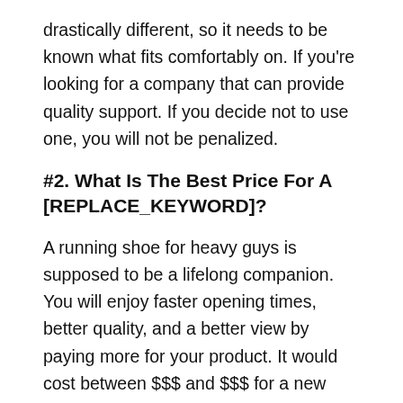drastically different, so it needs to be known what fits comfortably on. If you're looking for a company that can provide quality support. If you decide not to use one, you will not be penalized.
#2. What Is The Best Price For A [REPLACE_KEYWORD]?
A running shoe for heavy guys is supposed to be a lifelong companion. You will enjoy faster opening times, better quality, and a better view by paying more for your product. It would cost between $$$ and $$$ for a new running shoe for heavy guys. The only downside is that you wouldn't have some luxury features